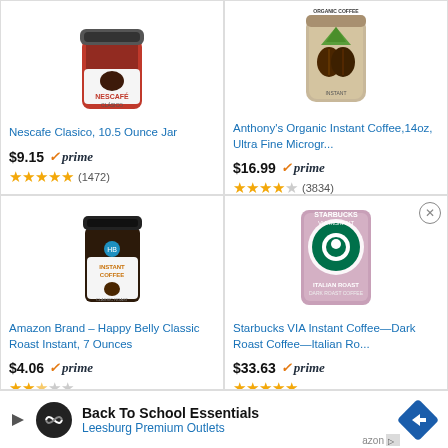[Figure (photo): Nescafe Clasico 10.5 ounce jar product photo]
Nescafe Clasico, 10.5 Ounce Jar
$9.15 ✓prime (1472)
[Figure (photo): Anthony's Organic Instant Coffee 14oz product photo]
Anthony's Organic Instant Coffee,14oz, Ultra Fine Microgr...
$16.99 ✓prime (3834)
[Figure (photo): Amazon Brand Happy Belly Classic Roast Instant Coffee 7 ounces jar]
Amazon Brand – Happy Belly Classic Roast Instant, 7 Ounces
$4.06 ✓prime
[Figure (photo): Starbucks VIA Instant Coffee Dark Roast Italian Roast package]
Starbucks VIA Instant Coffee—Dark Roast Coffee—Italian Ro...
$33.63 ✓prime
Back To School Essentials
Leesburg Premium Outlets